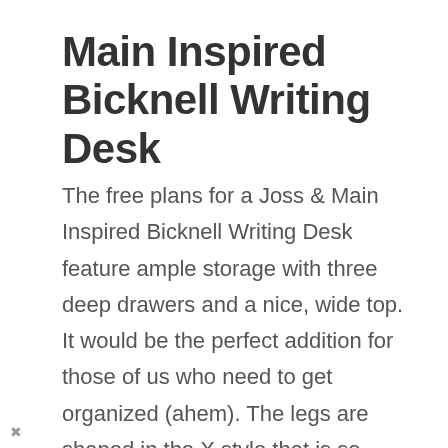Main Inspired Bicknell Writing Desk
The free plans for a Joss & Main Inspired Bicknell Writing Desk feature ample storage with three deep drawers and a nice, wide top. It would be the perfect addition for those of us who need to get organized (ahem). The legs are shaped in the X style that is so popular in furniture now!